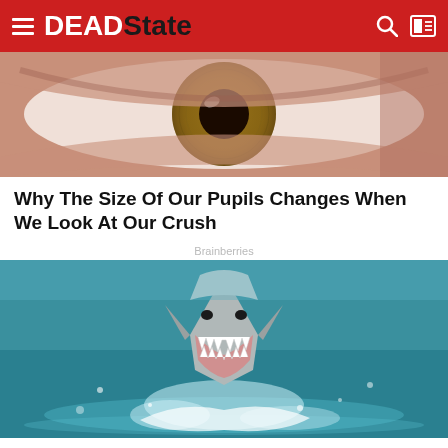DEADState
[Figure (photo): Close-up of a human eye with brown iris, showing pupil and surrounding eye whites]
Why The Size Of Our Pupils Changes When We Look At Our Crush
Brainberries
[Figure (photo): A great white shark leaping out of the ocean water with mouth open showing teeth, with splashing water around it]
6 Reasons Sharks Are Afraid Of Dolphins